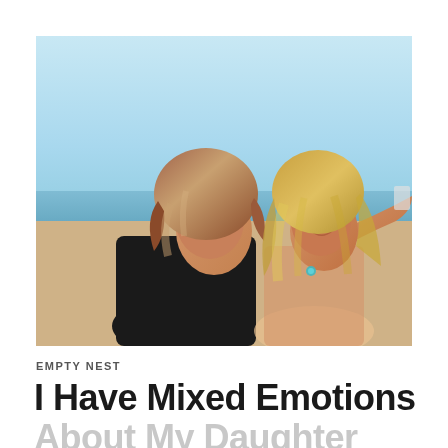[Figure (photo): Two women at the beach taking a selfie. The woman on the left has short wavy auburn/brown hair and is wearing a black sleeveless top. The woman on the right has long blonde hair and is extending her arm outward to take the selfie. They are both smiling. The background shows a clear blue sky and calm ocean water.]
EMPTY NEST
I Have Mixed Emotions About My Daughter